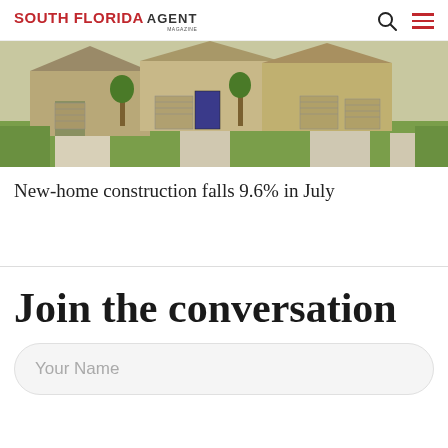SOUTH FLORIDA AGENT MAGAZINE
[Figure (photo): Exterior view of suburban homes with garages, driveways, and green lawns]
New-home construction falls 9.6% in July
Join the conversation
Your Name